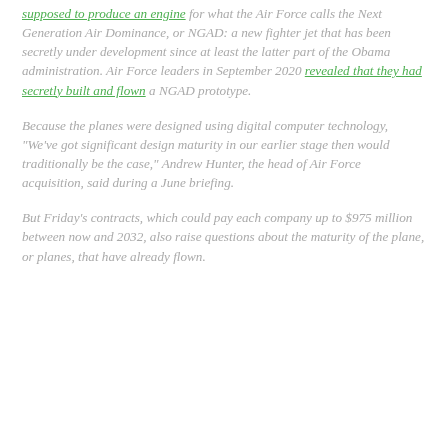supposed to produce an engine for what the Air Force calls the Next Generation Air Dominance, or NGAD: a new fighter jet that has been secretly under development since at least the latter part of the Obama administration. Air Force leaders in September 2020 revealed that they had secretly built and flown a NGAD prototype.
Because the planes were designed using digital computer technology, "We've got significant design maturity in our earlier stage then would traditionally be the case," Andrew Hunter, the head of Air Force acquisition, said during a June briefing.
But Friday's contracts, which could pay each company up to $975 million between now and 2032, also raise questions about the maturity of the plane, or planes, that have already flown.